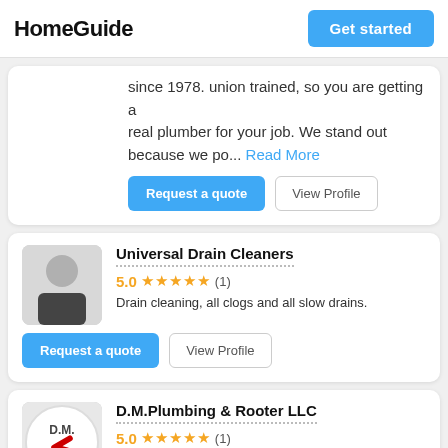HomeGuide | Get started
since 1978. union trained, so you are getting a real plumber for your job. We stand out because we po... Read More
Request a quote | View Profile
Universal Drain Cleaners
5.0 ★★★★★ (1)
Drain cleaning, all clogs and all slow drains.
Request a quote | View Profile
D.M.Plumbing & Rooter LLC
5.0 ★★★★★ (1)